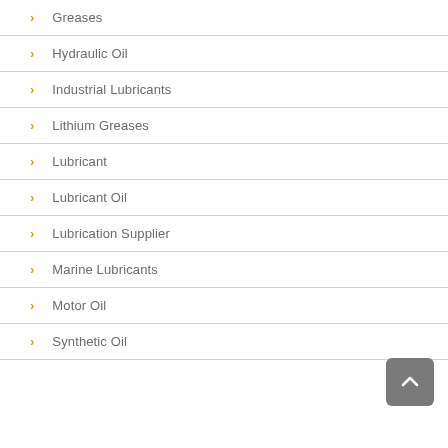Greases
Hydraulic Oil
Industrial Lubricants
Lithium Greases
Lubricant
Lubricant Oil
Lubrication Supplier
Marine Lubricants
Motor Oil
Synthetic Oil